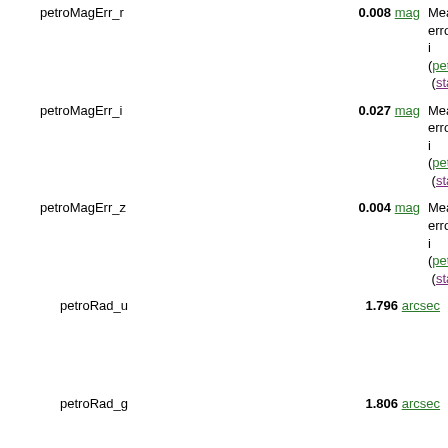petroMagErr_r   0.008 mag   Mean error in r (petroMagErr) (stat.error;p
petroMagErr_i   0.027 mag   Mean error in i (petroMagErr) (stat.error;p
petroMagErr_z   0.004 mag   Mean error in z (petroMagErr) (stat.error;p
petroRad_u   1.796 arcsec   [1.2e-6/261] band (petroR) (phys.angSiz
petroRad_g   1.806 arcsec   [2.3e-6/261] band (petroR) (phys.angSiz
petroRad_r   1.728 arcsec   [4.9e-6/260] band (petroR) (phys.angSiz
petroRad_i   1.506 arcsec   [2.2e-6/263] band (petroR) (phys.angSiz
petroRad_z   1.455 arcsec   [8.3e-7/261] band (petroR)